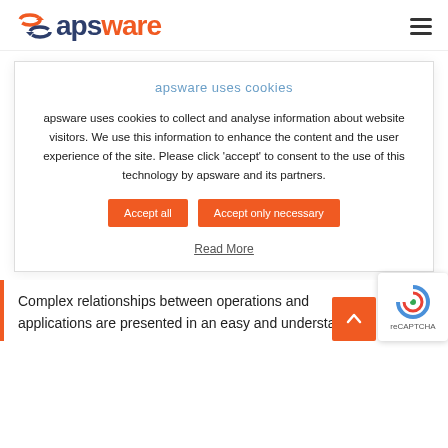[Figure (logo): apsware logo with icon and wordmark in dark blue and orange]
apsware uses cookies
apsware uses cookies to collect and analyse information about website visitors. We use this information to enhance the content and the user experience of the site. Please click 'accept' to consent to the use of this technology by apsware and its partners.
Accept all
Accept only necessary
Read More
Complex relationships between operations and applications are presented in an easy and understand